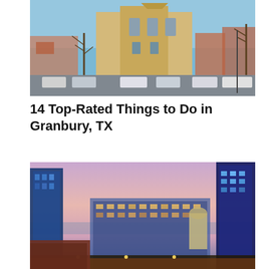[Figure (photo): Daytime street-level photo of a historic stone courthouse building in Granbury, TX town square with parked cars and bare winter trees in the foreground under a blue sky.]
14 Top-Rated Things to Do in Granbury, TX
[Figure (photo): Aerial dusk/twilight photo of a downtown city skyline with illuminated modern glass skyscrapers, pink and purple sky, and city streets visible below.]